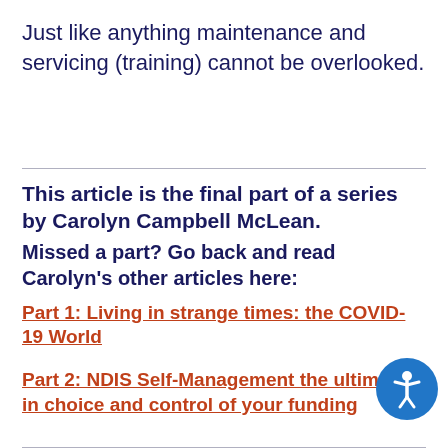Just like anything maintenance and servicing (training) cannot be overlooked.
This article is the final part of a series by Carolyn Campbell McLean. Missed a part? Go back and read Carolyn's other articles here:
Part 1: Living in strange times: the COVID-19 World
Part 2: NDIS Self-Management the ultimate in choice and control of your funding